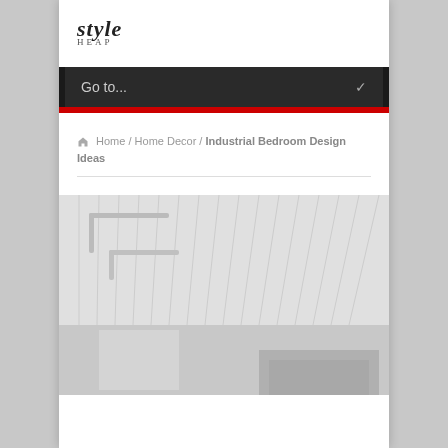[Figure (logo): Style Heap website logo in italic script font]
[Figure (screenshot): Navigation dropdown bar with 'Go to...' text and chevron arrow, dark background with red bottom bar]
Home / Home Decor / Industrial Bedroom Design Ideas
[Figure (photo): Interior bedroom photo showing white paneled ceiling with exposed pipes/conduit in industrial style]